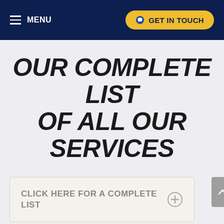MENU | GET IN TOUCH
OUR COMPLETE LIST OF ALL OUR SERVICES
CLICK HERE FOR A COMPLETE LIST
ALL GATE SERVICES